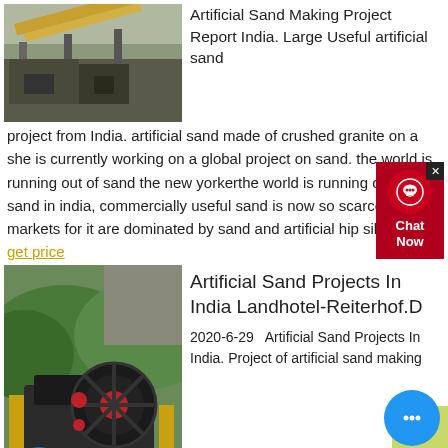[Figure (photo): Industrial sand making/crushing machinery on a construction site, showing large conveyor structure]
Artificial Sand Making Project Report India. Large Useful artificial sand project from India. artificial sand made of crushed granite on a she is currently working on a global project on sand. the world is running out of sand the new yorkerthe world is running out of sand in india, commercially useful sand is now so scarce that markets for it are dominated by sand and artificial hip silica
get price
[Figure (photo): Large industrial jaw crusher machine with yellow and black body, red flywheel, and blue motor, set against green mountain backdrop]
Artificial Sand Projects In India Landhotel-Reiterhof.D
2020-6-29   Artificial Sand Projects In India. Project of artificial sand making in india Highways and other transportation projects will directly stimulate the demand of the Indian artificial sand machine